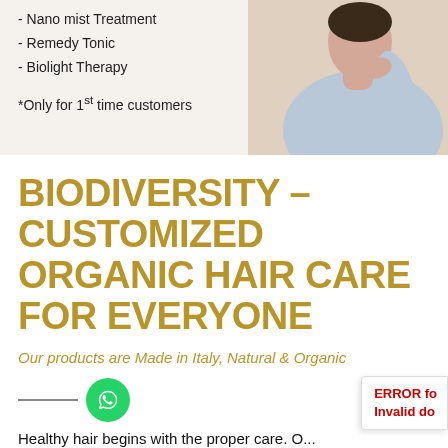- Nano mist Treatment
- Remedy Tonic
- Biolight Therapy
*Only for 1st time customers
[Figure (photo): Woman in light blue sweater with hand near chin]
BIODIVERSITY - CUSTOMIZED ORGANIC HAIR CARE FOR EVERYONE
Our products are Made in Italy, Natural & Organic
[Figure (illustration): WhatsApp icon green circle button]
Healthy hair begins with the proper care. O...
ERROR for Invalid do...